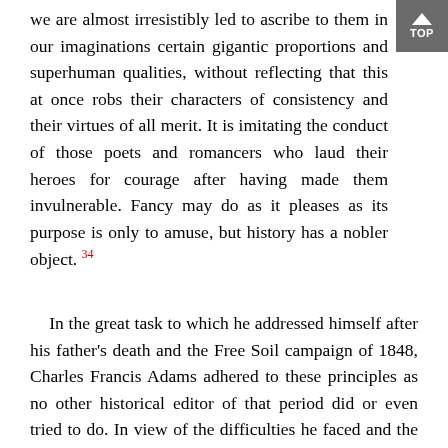we are almost irresistibly led to ascribe to them in our imaginations certain gigantic proportions and superhuman qualities, without reflecting that this at once robs their characters of consistency and their virtues of all merit. It is imitating the conduct of those poets and romancers who laud their heroes for courage after having made them invulnerable. Fancy may do as it pleases as its purpose is only to amuse, but history has a nobler object. 34
In the great task to which he addressed himself after his father's death and the Free Soil campaign of 1848, Charles Francis Adams adhered to these principles as no other historical editor of that period did or even tried to do. In view of the difficulties he faced and the lack of good precedents for the editing of statesmen's papers, his edition of the Works of John Adams, published between 1850 and 1856, was a remarkable accomplishment. As a single example, his